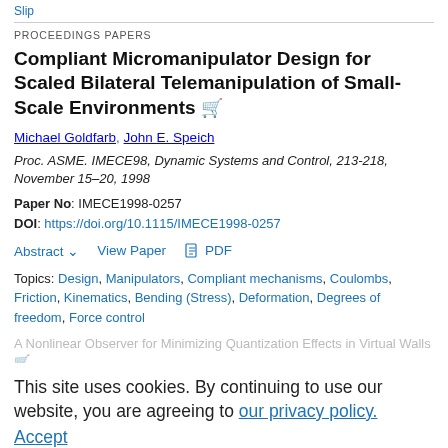Slip
PROCEEDINGS PAPERS
Compliant Micromanipulator Design for Scaled Bilateral Telemanipulation of Small-Scale Environments
Michael Goldfarb, John E. Speich
Proc. ASME. IMECE98, Dynamic Systems and Control, 213-218, November 15–20, 1998
Paper No: IMECE1998-0257
DOI: https://doi.org/10.1115/IMECE1998-0257
Abstract  View Paper  PDF
Topics: Design, Manipulators, Compliant mechanisms, Coulombs, Friction, Kinematics, Bending (Stress), Deformation, Degrees of freedom, Force control
This site uses cookies. By continuing to use our website, you are agreeing to our privacy policy. Accept
A Nonlinear Observer for Minimizing Quantization Effects in Virtual Walls